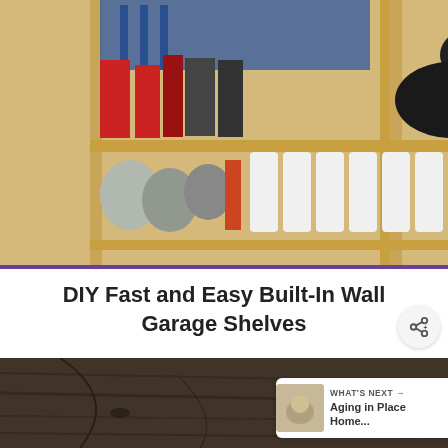[Figure (photo): Garage with built-in wooden shelving unit filled with storage bins, jugs, and containers]
DIY Fast and Easy Built-In Wall Garage Shelves
[Figure (photo): Close-up of weathered wood planks, dark and textured]